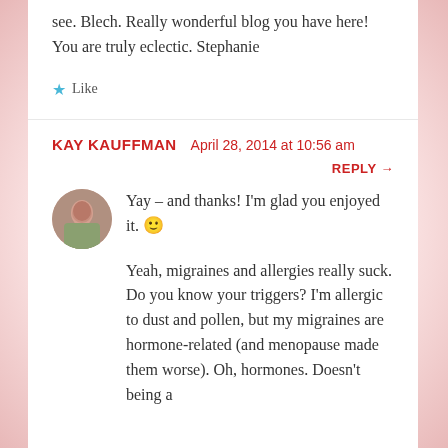see. Blech. Really wonderful blog you have here! You are truly eclectic. Stephanie
Like
KAY KAUFFMAN   April 28, 2014 at 10:56 am
REPLY →
Yay – and thanks! I'm glad you enjoyed it. 🙂
Yeah, migraines and allergies really suck. Do you know your triggers? I'm allergic to dust and pollen, but my migraines are hormone-related (and menopause made them worse). Oh, hormones. Doesn't being a